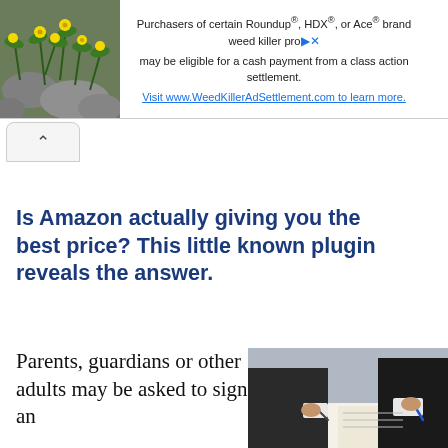[Figure (photo): Advertisement banner with plant/flower image on left and text about Roundup class action settlement on right]
Purchasers of certain Roundup®, HDX®, or Ace® brand weed killer products may be eligible for a cash payment from a class action settlement. Visit www.WeedKillerAdSettlement.com to learn more.
[Figure (other): Scroll up chevron button]
Is Amazon actually giving you the best price? This little known plugin reveals the answer.
Parents, guardians or other adults may be asked to sign an
[Figure (photo): Person in suit signing documents at a table]